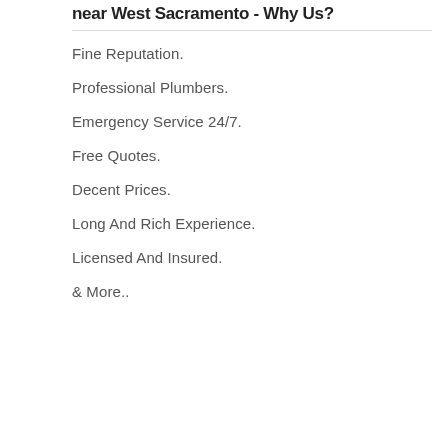near West Sacramento - Why Us?
Fine Reputation.
Professional Plumbers.
Emergency Service 24/7.
Free Quotes.
Decent Prices.
Long And Rich Experience.
Licensed And Insured.
& More..